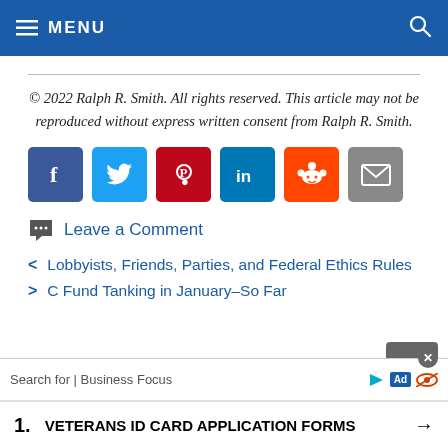MENU
© 2022 Ralph R. Smith. All rights reserved. This article may not be reproduced without express written consent from Ralph R. Smith.
[Figure (infographic): Social share buttons: Facebook (dark blue), Twitter (light blue), Pinterest (dark red), LinkedIn (blue), Reddit (orange), Email (gray)]
Leave a Comment
< Lobbyists, Friends, Parties, and Federal Ethics Rules
> C Fund Tanking in January–So Far
Search for | Business Focus  Ad
1.  VETERANS ID CARD APPLICATION FORMS →